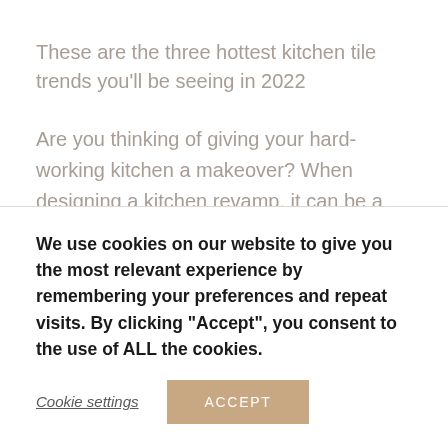These are the three hottest kitchen tile trends you'll be seeing in 2022
Are you thinking of giving your hard-working kitchen a makeover? When designing a kitchen revamp, it can be a struggle to know where to start. Today, I'm going to share my top 3 kitchen trends for 2022 — as well as share my expert styling ideas on how to create the look.
We use cookies on our website to give you the most relevant experience by remembering your preferences and repeat visits. By clicking "Accept", you consent to the use of ALL the cookies.
Cookie settings
ACCEPT